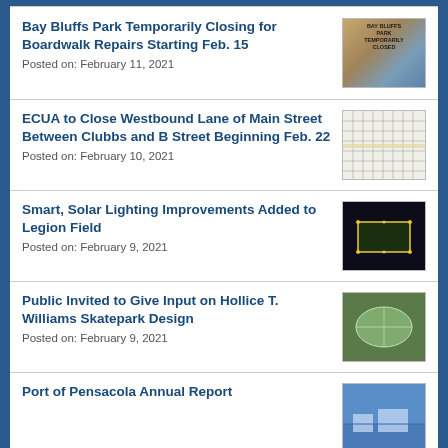Bay Bluffs Park Temporarily Closing for Boardwalk Repairs Starting Feb. 15
Posted on: February 11, 2021
[Figure (photo): Bay Bluffs Park Temporarily Closed sign with text and park imagery]
ECUA to Close Westbound Lane of Main Street Between Clubbs and B Street Beginning Feb. 22
Posted on: February 10, 2021
[Figure (map): Street map showing Main Street closure area between Clubbs and B Street]
Smart, Solar Lighting Improvements Added to Legion Field
Posted on: February 9, 2021
[Figure (photo): Aerial night photo of Legion Field with solar lighting installed]
Public Invited to Give Input on Hollice T. Williams Skatepark Design
Posted on: February 9, 2021
[Figure (photo): Aerial rendering of Hollice T. Williams Skatepark design]
Port of Pensacola Annual Report